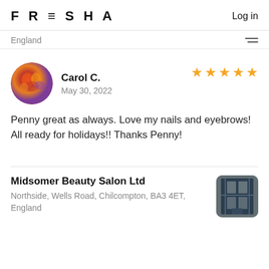FRESHA  Log in
England
Carol C.
May 30, 2022
★★★★★
Penny great as always. Love my nails and eyebrows! All ready for holidays!! Thanks Penny!
Midsomer Beauty Salon Ltd
Northside, Wells Road, Chilcompton, BA3 4ET, England